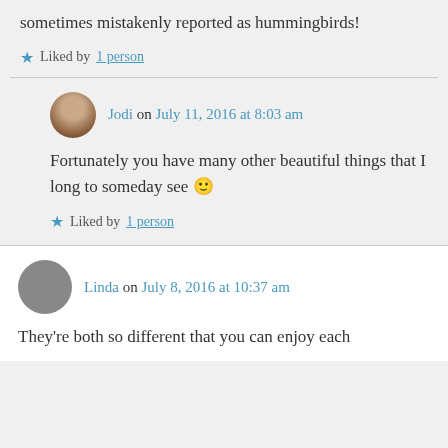sometimes mistakenly reported as hummingbirds!
Liked by 1 person
Jodi on July 11, 2016 at 8:03 am
Fortunately you have many other beautiful things that I long to someday see 🙂
Liked by 1 person
Linda on July 8, 2016 at 10:37 am
They're both so different that you can enjoy each